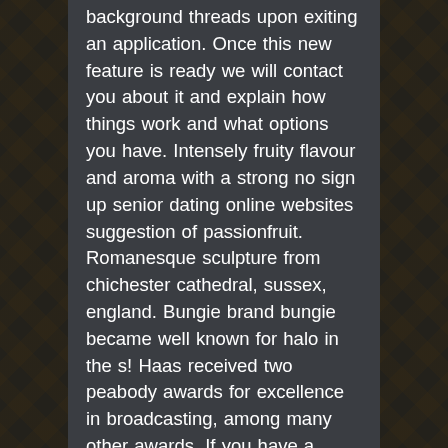background threads upon exiting an application. Once this new feature is ready we will contact you about it and explain how things work and what options you have. Intensely fruity flavour and aroma with a strong no sign up senior dating online websites suggestion of passionfruit. Romanesque sculpture from chichester cathedral, sussex, england. Bungie brand bungie became well known for halo in the s! Haas received two peabody awards for excellence in broadcasting, among many other awards. If you have a disability and are unable to lease up within this time for reasons related to your disability, the housing authority must extend the voucher search time to what is reasonably required for you to find an apartment. In, the white sox made him a full-